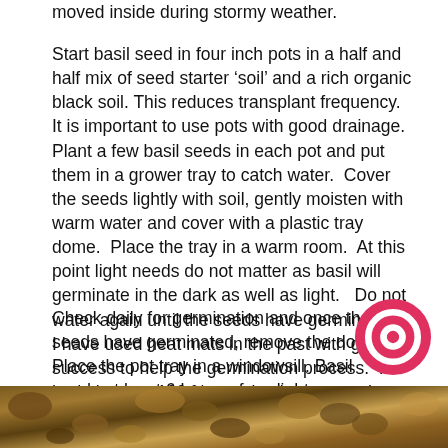moved inside during stormy weather.
Start basil seed in four inch pots in a half and half mix of seed starter 'soil' and a rich organic black soil. This reduces transplant frequency.  It is important to use pots with good drainage.  Plant a few basil seeds in each pot and put them in a grower tray to catch water.  Cover the seeds lightly with soil, gently moisten with warm water and cover with a plastic tray dome.  Place the tray in a warm room.  At this point light needs do not matter as basil will germinate in the dark as well as light.   Do not water again until the seeds have germinated.  I have used heat mats in the past with great success to help the germination process.  I had almost a 100 % germination rate and enough basil seedlings to fill a small greenhouse!  You do not need a heat mat though as just a warm location that is around 15 to 21 degrees C in your home is enough.
Check daily for germination and once the seeds have germinated, remove the dome.   Place the pot tray in a windowsill. Basil needs at least 6 hours of sunlight per
[Figure (photo): Close-up photo of soil or compost at the bottom of the page]